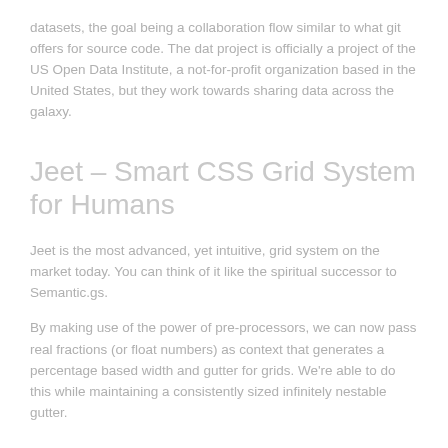datasets, the goal being a collaboration flow similar to what git offers for source code. The dat project is officially a project of the US Open Data Institute, a not-for-profit organization based in the United States, but they work towards sharing data across the galaxy.
Jeet – Smart CSS Grid System for Humans
Jeet is the most advanced, yet intuitive, grid system on the market today. You can think of it like the spiritual successor to Semantic.gs.
By making use of the power of pre-processors, we can now pass real fractions (or float numbers) as context that generates a percentage based width and gutter for grids. We're able to do this while maintaining a consistently sized infinitely nestable gutter.